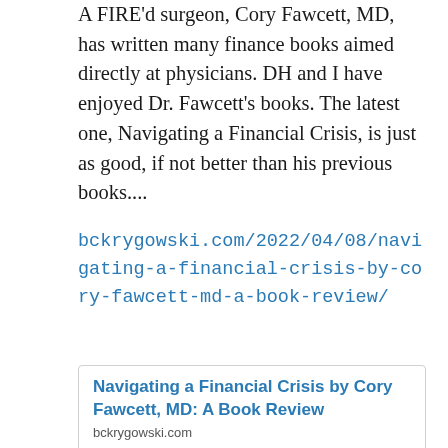A FIRE'd surgeon, Cory Fawcett, MD, has written many finance books aimed directly at physicians. DH and I have enjoyed Dr. Fawcett's books. The latest one, Navigating a Financial Crisis, is just as good, if not better than his previous books....
bckrygowski.com/2022/04/08/navigating-a-financial-crisis-by-cory-fawcett-md-a-book-review/
Navigating a Financial Crisis by Cory Fawcett, MD: A Book Review
bckrygowski.com
A FIRE'd surgeon, Cory Fawcett, MD, has written many finance books aimed directly at physicians. DH and I have enjoyed Dr. Fawcett's books. The latest one, Navigating a Financial Crisis, is